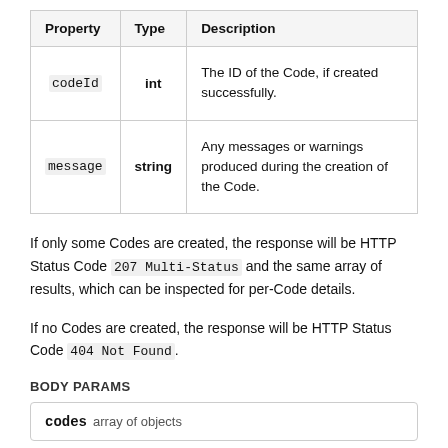| Property | Type | Description |
| --- | --- | --- |
| codeId | int | The ID of the Code, if created successfully. |
| message | string | Any messages or warnings produced during the creation of the Code. |
If only some Codes are created, the response will be HTTP Status Code 207 Multi-Status and the same array of results, which can be inspected for per-Code details.
If no Codes are created, the response will be HTTP Status Code 404 Not Found.
BODY PARAMS
codes  array of objects